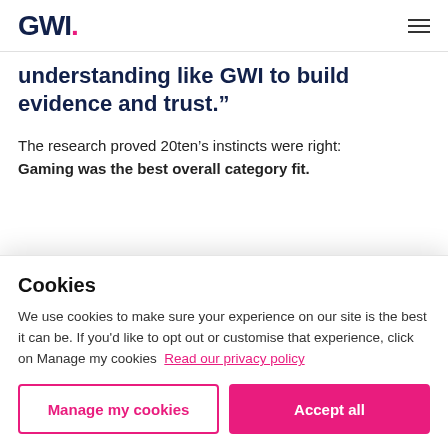GWI.
understanding like GWI to build evidence and trust.”
The research proved 20ten’s instincts were right: Gaming was the best overall category fit.
Cookies
We use cookies to make sure your experience on our site is the best it can be. If you’d like to opt out or customise that experience, click on Manage my cookies  Read our privacy policy
Manage my cookies
Accept all